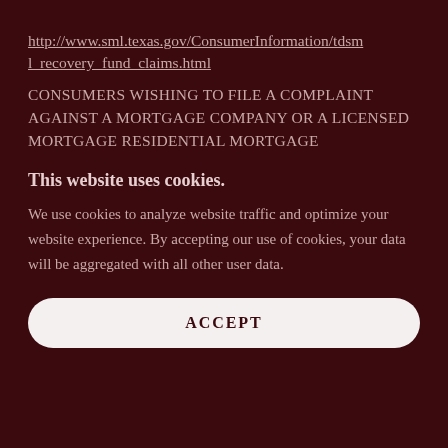http://www.sml.texas.gov/ConsumerInformation/tdsml_recovery_fund_claims.html
CONSUMERS WISHING TO FILE A COMPLAINT AGAINST A MORTGAGE COMPANY OR A LICENSED MORTGAGE RESIDENTIAL MORTGAGE
This website uses cookies.
We use cookies to analyze website traffic and optimize your website experience. By accepting our use of cookies, your data will be aggregated with all other user data.
ACCEPT